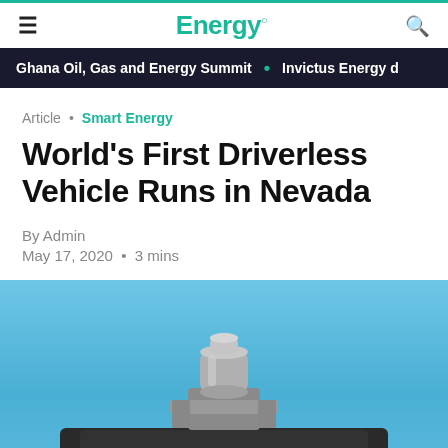Energy.
Ghana Oil, Gas and Energy Summit • Invictus Energy d
Article • Smart Energy
World's First Driverless Vehicle Runs in Nevada
By Admin
May 17, 2020 • 3 mins
[Figure (photo): Top of a self-driving vehicle with sensors/LiDAR unit mounted on roof, photographed against a clear blue sky]